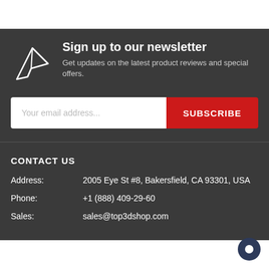Sign up to our newsletter
Get updates on the latest product reviews and special offers.
Your email address...
SUBSCRIBE
CONTACT US
Address: 2005 Eye St #8, Bakersfield, CA 93301, USA
Phone: +1 (888) 409-29-60
Sales: sales@top3dshop.com